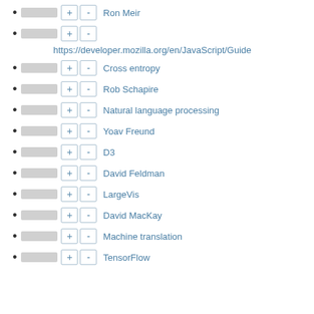Ron Meir
https://developer.mozilla.org/en/JavaScript/Guide
Cross entropy
Rob Schapire
Natural language processing
Yoav Freund
D3
David Feldman
LargeVis
David MacKay
Machine translation
TensorFlow